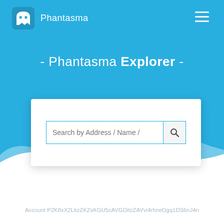Phantasma
- Phantasma Explorer -
[Figure (screenshot): Search input box with placeholder text 'Search by Address / Name /' and a search button icon]
Account P2K8xX2LkzZKZsKGU5cAVGDitzZAVvi4rhneDgq1DS6nJ4n